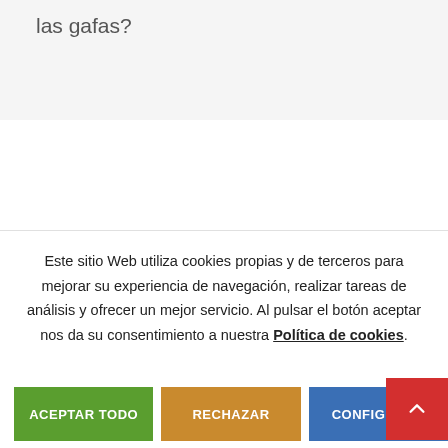las gafas?
Este sitio Web utiliza cookies propias y de terceros para mejorar su experiencia de navegación, realizar tareas de análisis y ofrecer un mejor servicio. Al pulsar el botón aceptar nos da su consentimiento a nuestra Política de cookies.
ACEPTAR TODO
RECHAZAR
CONFIGURAR